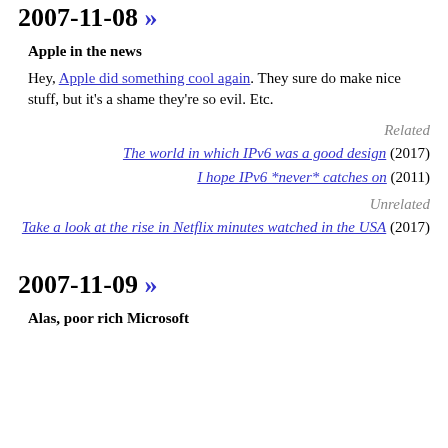2007-11-08 »
Apple in the news
Hey, Apple did something cool again. They sure do make nice stuff, but it's a shame they're so evil. Etc.
Related
The world in which IPv6 was a good design (2017)
I hope IPv6 *never* catches on (2011)
Unrelated
Take a look at the rise in Netflix minutes watched in the USA (2017)
2007-11-09 »
Alas, poor rich Microsoft